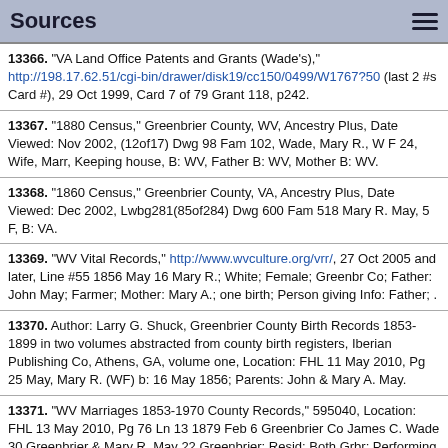Sources
13366. "VA Land Office Patents and Grants (Wade's)," http://198.17.62.51/cgi-bin/drawer/disk19/cc150/0499/W1767?50 (last 2 #s Card #), 29 Oct 1999, Card 7 of 79 Grant 118, p242.
13367. "1880 Census," Greenbrier County, WV, Ancestry Plus, Date Viewed: Nov 2002, (12of17) Dwg 98 Fam 102, Wade, Mary R., W F 24, Wife, Marr, Keeping house, B: WV, Father B: WV, Mother B: WV.
13368. "1860 Census," Greenbrier County, VA, Ancestry Plus, Date Viewed: Dec 2002, Lwbg281(85of284) Dwg 600 Fam 518 Mary R. May, 5 F, B: VA.
13369. "WV Vital Records," http://www.wvculture.org/vrr/, 27 Oct 2005 and later, Line #55 1856 May 16 Mary R.; White; Female; Greenbr Co; Father: John May; Farmer; Mother: Mary A.; one birth; Person giving Info: Father; .
13370. Author: Larry G. Shuck, Greenbrier County Birth Records 1853-1899 in two volumes abstracted from county birth registers, Iberian Publishing Co, Athens, GA, volume one, Location: FHL 11 May 2010, Pg 25 May, Mary R. (WF) b: 16 May 1856; Parents: John & Mary A. May.
13371. "WV Marriages 1853-1970 County Records," 595040, Location: FHL 13 May 2010, Pg 76 Ln 13 1879 Feb 6 Greenbrier Co James C. Wade 30 Greenbrier & Mary R. May 22 Greenbrier; Resid: Both Grbr; Performing Ceremony: M. May.
13372. "Greenbrier County, WV Birth Register 1853-1898," FHL 595033, Location: FHL 14 May 2010, Pg 22 1856 Ln 55 May 16 Mary R., Father: John May, Mother: Mary A., single Birth; Info: (Blank), Father.
13373. "WV Births Index 1853-1969," Ancestry.com, 3 Apr 2012, Mary R May b: 16 May 1856 Greenbrier WV d/o John May & Mary A.